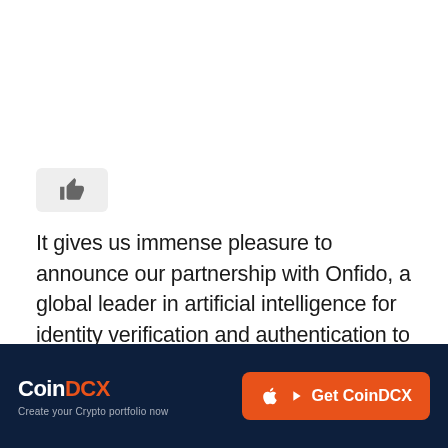[Figure (illustration): Thumbs-up like button icon in a light grey rounded rectangle]
It gives us immense pleasure to announce our partnership with Onfido, a global leader in artificial intelligence for identity verification and authentication to initiate the automated KYC process. The company's AI-based technology will help us assess whether the users' ID is genuine or fraudulent as per the identity documents issued by the government of India. This will help
CoinDCX  Create your Crypto portfolio now  Get CoinDCX